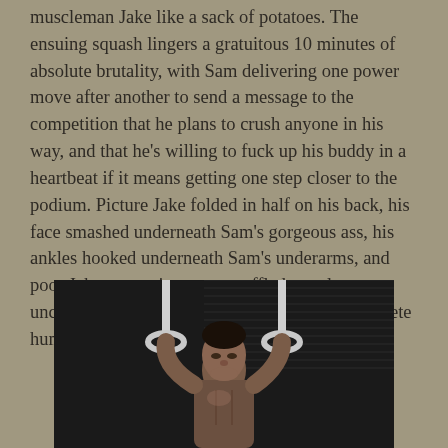muscleman Jake like a sack of potatoes. The ensuing squash lingers a gratuitous 10 minutes of absolute brutality, with Sam delivering one power move after another to send a message to the competition that he plans to crush anyone in his way, and that he's willing to fuck up his buddy in a heartbeat if it means getting one step closer to the podium. Picture Jake folded in half on his back, his face smashed underneath Sam's gorgeous ass, his ankles hooked underneath Sam's underarms, and poor Jake screaming out a muffled, nearly unconscious plea for mercy, admitting his complete humiliation. Sam makes it into the next round.
[Figure (photo): Black and white or dark photo of a muscular male gymnast holding onto gymnastics rings, shirtless, looking upward, athletic build, dark background with industrial/gym setting]